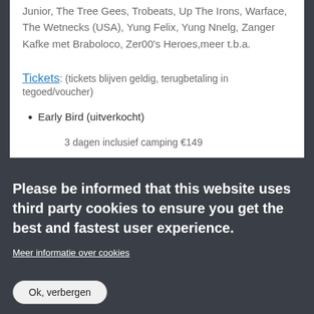Junior, The Tree Gees, Trobeats, Up The Irons, Warface, The Wetnecks (USA), Yung Felix, Yung Nnelg, Zanger Kafke met Braboloco, Zer00's Heroes,meer t.b.a.
Tickets: (tickets blijven geldig, terugbetaling in tegoed/voucher)
Early Bird (uitverkocht)
3 dagen inclusief camping €149
Please be informed that this website uses third party cookies to ensure you get the best and fastest user experience.
Meer informatie over cookies
Ok, verbergen